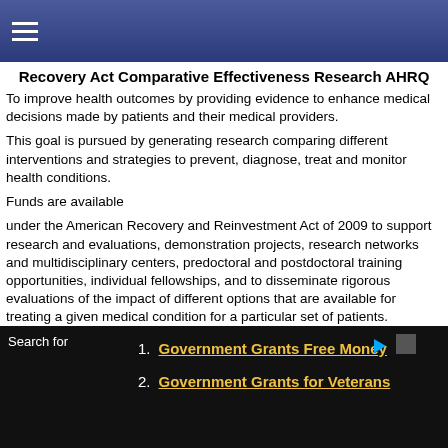≡ (navigation menu icon)
Recovery Act Comparative Effectiveness Research AHRQ
To improve health outcomes by providing evidence to enhance medical decisions made by patients and their medical providers.
This goal is pursued by generating research comparing different interventions and strategies to prevent, diagnose, treat and monitor health conditions.
Funds are available
under the American Recovery and Reinvestment Act of 2009 to support research and evaluations, demonstration projects, research networks and multidisciplinary centers, predoctoral and postdoctoral training opportunities, individual fellowships, and to disseminate rigorous evaluations of the impact of different options that are available for treating a given medical condition for a particular set of patients.
Related Programs
1. Government Grants Free Money
2. Government Grants for Veterans
Search for